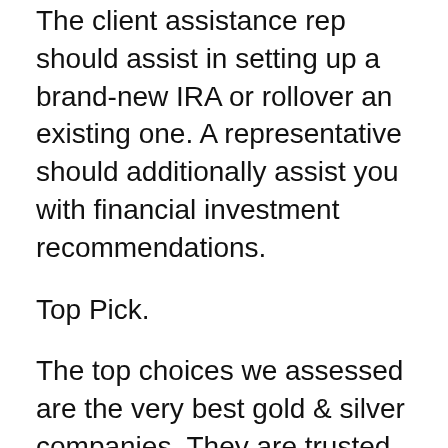The client assistance rep should assist in setting up a brand-new IRA or rollover an existing one. A representative should additionally assist you with financial investment recommendations.
Top Pick.
The top choices we assessed are the very best gold & silver companies. They are trusted and respected in the sector. Nevertheless, we picked Goldo as our ideal company to recommend. Goldco has a great deal to use.
They have an A+ score with the Better Business Bureau and a Triple-A Ranking from Company Consumer Partnership. They